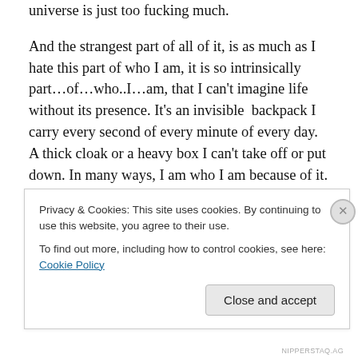universe is just too fucking much.
And the strangest part of all of it, is as much as I hate this part of who I am, it is so intrinsically part…of…who..I…am, that I can't imagine life without its presence. It's an invisible  backpack I carry every second of every minute of every day. A thick cloak or a heavy box I can't take off or put down. In many ways, I am who I am because of it. I don't know who I would be without it.
So as I look at that picture, the one with the enormous jeans, the thick and likely unwashed bangs and the very
Privacy & Cookies: This site uses cookies. By continuing to use this website, you agree to their use.
To find out more, including how to control cookies, see here: Cookie Policy
Close and accept
NIPPERSTAQ.AG